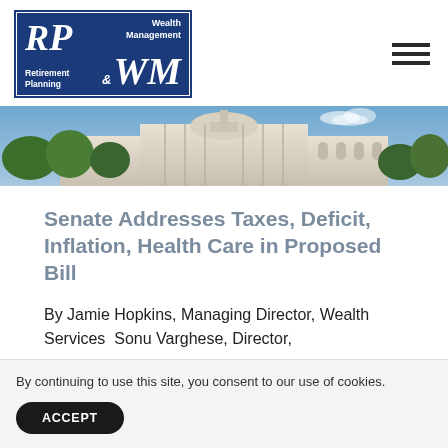[Figure (logo): RP & WM Retirement Planning & Wealth Management logo — blue rectangle with white border, italic serif RP on left, WM on right, text labels for Retirement Planning and Wealth Management]
[Figure (photo): Photograph of the US Capitol building with trees in foreground, wide banner crop]
Senate Addresses Taxes, Deficit, Inflation, Health Care in Proposed Bill
By Jamie Hopkins, Managing Director, Wealth Services  Sonu Varghese, Director,
By continuing to use this site, you consent to our use of cookies.